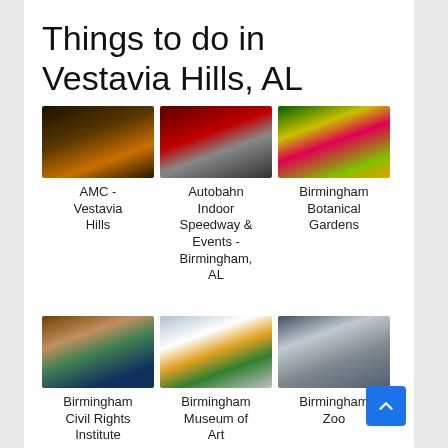Things to do in Vestavia Hills, AL
[Figure (photo): AMC - Vestavia Hills theater exterior at night]
AMC - Vestavia Hills
[Figure (photo): Autobahn Indoor Speedway & Events - Birmingham, AL interior with go-kart track]
Autobahn Indoor Speedway & Events - Birmingham, AL
[Figure (photo): Birmingham Botanical Gardens colorful flowers]
Birmingham Botanical Gardens
[Figure (photo): Birmingham Civil Rights Institute building exterior]
Birmingham Civil Rights Institute
[Figure (photo): Birmingham Museum of Art exterior]
Birmingham Museum of Art
[Figure (photo): Birmingham Zoo entrance]
Birmingham Zoo